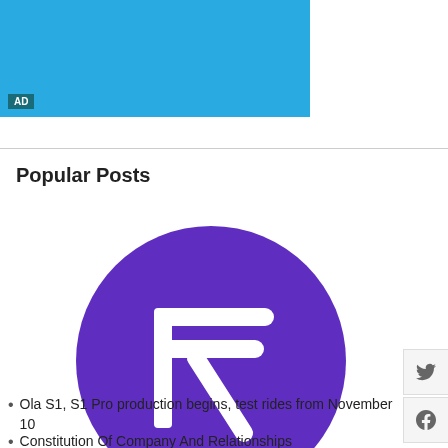[Figure (other): Blue advertisement banner with 'AD' label in bottom-left corner]
Popular Posts
[Figure (logo): PhonePe logo: purple circle with white Hindi rupee Pe symbol, with PhonePe wordmark below on a white background]
BharatPe moves Delhi HC seeking cancellation of PhonePe's trademarks for 'Pe'
Ola S1, S1 Pro production begins, test rides from November 10
Constitution Of Company And Relationships